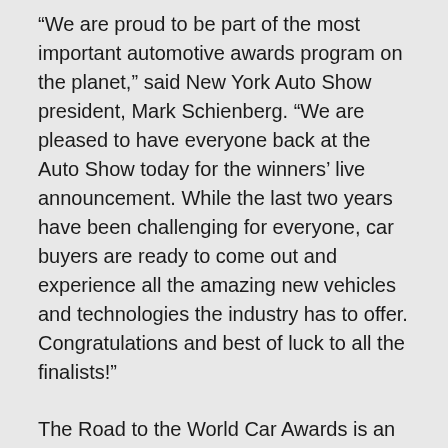“We are proud to be part of the most important automotive awards program on the planet,” said New York Auto Show president, Mark Schienberg. “We are pleased to have everyone back at the Auto Show today for the winners’ live announcement. While the last two years have been challenging for everyone, car buyers are ready to come out and experience all the amazing new vehicles and technologies the industry has to offer. Congratulations and best of luck to all the finalists!”
The Road to the World Car Awards is an annual journey that follows more than 100+ of our international jurors as they test-drive, and vote on, the eligible vehicles for the 2022 awards. The jurors’ road-test journey is captured virtually on World Car TV. The jurors provide viewers with